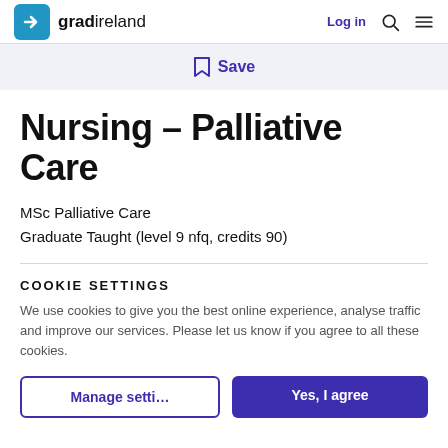gradireland — Log in
Save
Nursing – Palliative Care
MSc Palliative Care
Graduate Taught (level 9 nfq, credits 90)
COOKIE SETTINGS
We use cookies to give you the best online experience, analyse traffic and improve our services. Please let us know if you agree to all these cookies.
Manage settings   Yes, I agree